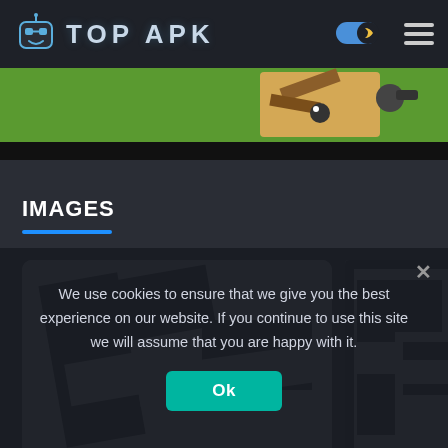TOP APK
[Figure (screenshot): Top-down game screenshot banner showing green landscape with wooden/black elements]
IMAGES
[Figure (screenshot): Black and white graphic showing large letter F or stylized logo on white background]
[Figure (screenshot): Black and white graphic similar to left thumbnail, partially visible, framed]
We use cookies to ensure that we give you the best experience on our website. If you continue to use this site we will assume that you are happy with it.